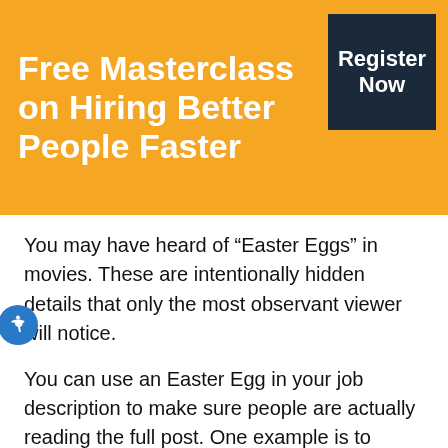Free Masterclass on Hiring Better People Faster
[Figure (other): Register Now button - dark navy rectangle with white text]
You may have heard of “Easter Eggs” in movies. These are intentionally hidden details that only the most observant viewer will notice.
You can use an Easter Egg in your job description to make sure people are actually reading the full post. One example is to weave in a sentence that says “When you get to question 12, let us know who your favorite Disney princess is.” Question 12 of the application would simply say “Please provide your answer